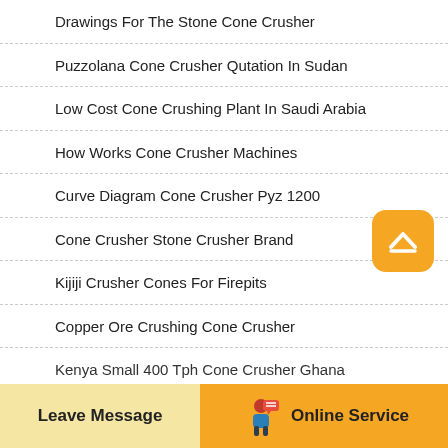Drawings For The Stone Cone Crusher
Puzzolana Cone Crusher Qutation In Sudan
Low Cost Cone Crushing Plant In Saudi Arabia
How Works Cone Crusher Machines
Curve Diagram Cone Crusher Pyz 1200
Cone Crusher Stone Crusher Brand
Kijiji Crusher Cones For Firepits
Copper Ore Crushing Cone Crusher
Kenya Small 400 Tph Cone Crusher Ghana
[Figure (other): Scroll to top button — yellow rounded square with upward chevron icon]
Leave Message | Online Service